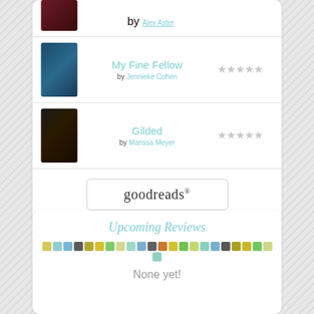by Alex Aster
My Fine Fellow
by Jennieke Cohen
Gilded
by Marissa Meyer
[Figure (logo): goodreads logo button with rounded rectangle border]
Upcoming Reviews
[Figure (infographic): A horizontal strip of small colored squares in a repeating pattern: yellow, teal, blue, dark gray, olive, yellow, green, light yellow, light teal, steel blue, dark gray, orange, yellow, green, light green, light teal, steel blue, dark gray, olive, yellow, green, light yellow, light teal]
None yet!